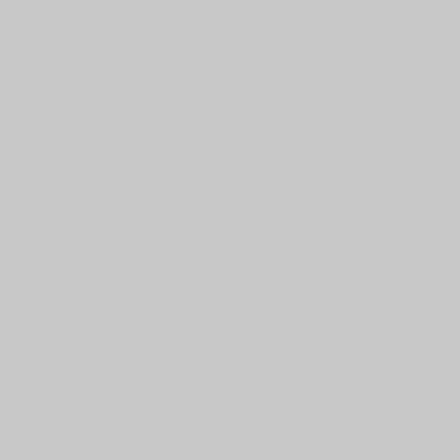description of their appearance, a of rank tempted to form an estim department, to make a size. Their military stations in the ceives to Indies, during which their attent tion was attracted to this extraor Ravensheugh in phenomenon in by Dr Macknight. On that had al the neighbourhood of Dun- cord dee; on those near St. Andrews ; the on the Red Head in Forfarshi of the fibre.- Fleming. On the Oc the generation of vessels Macken effused blood, he imagines that i mention it pends upon the gas w and Dr Fergusson was from bloo draw up the statement. by insinu gentleman found, that the eruphe tions of these semi-volcanoes, tw to pub- number, which are situat lish their Memoirs in the 4to for volume is into one of the mouths illustrated with twenty-seven en